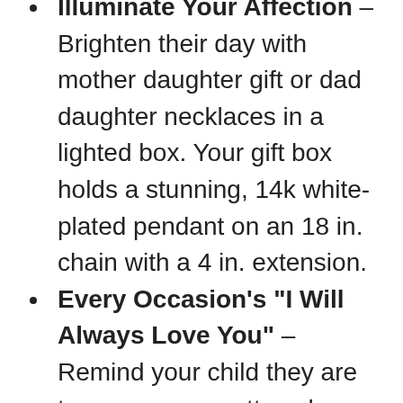Illuminate Your Affection – Brighten their day with mother daughter gift or dad daughter necklaces in a lighted box. Your gift box holds a stunning, 14k white-plated pendant on an 18 in. chain with a 4 in. extension.
Every Occasion's “I Will Always Love You” – Remind your child they are treasures, no matter where life leads. Give this mom and daughter necklace or daughter necklace from dad for their graduation, holidays, wedding, or baby shower.